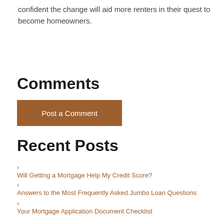confident the change will aid more renters in their quest to become homeowners.
Comments
Post a Comment
Recent Posts
Will Getting a Mortgage Help My Credit Score?
Answers to the Most Frequently Asked Jumbo Loan Questions
Your Mortgage Application Document Checklist